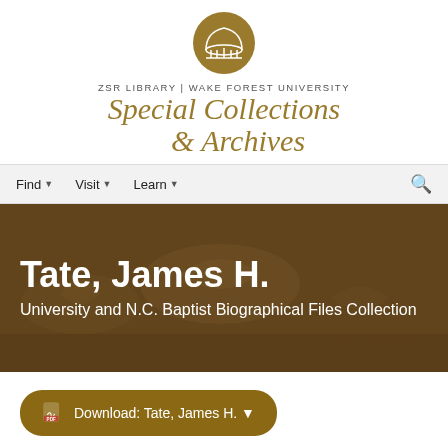[Figure (logo): ZSR Library Wake Forest University Special Collections & Archives logo with dome icon]
Find  Visit  Learn  [search]
[Figure (photo): Sepia-toned architectural detail of classical column capitals used as hero banner background]
Tate, James H.
University and N.C. Baptist Biographical Files Collection
Download: Tate, James H. ▼
Item Details